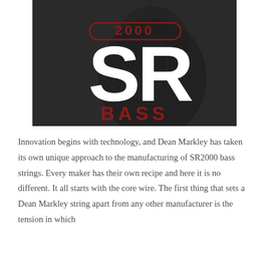[Figure (logo): SR2000 Bass logo on dark background with guitar silhouette. Large white 'SR' letters with '2000' in red above, and 'BASS' in bold red text below.]
Innovation begins with technology, and Dean Markley has taken its own unique approach to the manufacturing of SR2000 bass strings. Every maker has their own recipe and here it is no different. It all starts with the core wire. The first thing that sets a Dean Markley string apart from any other manufacturer is the tension in which